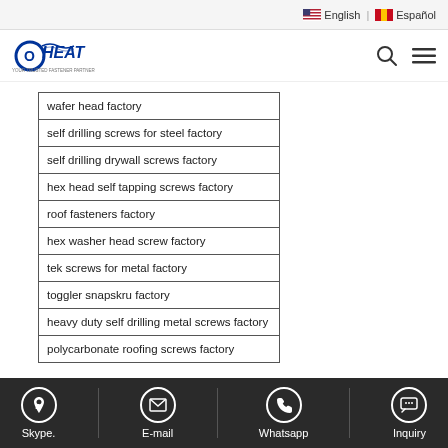English | Español
[Figure (logo): Oheat company logo with tagline]
| wafer head factory |
| self drilling screws for steel factory |
| self drilling drywall screws factory |
| hex head self tapping screws factory |
| roof fasteners factory |
| hex washer head screw factory |
| tek screws for metal factory |
| toggler snapskru factory |
| heavy duty self drilling metal screws factory |
| polycarbonate roofing screws factory |
Skype. | E-mail | Whatsapp | Inquiry